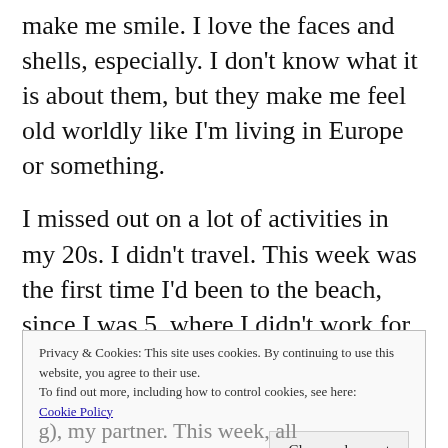make me smile. I love the faces and shells, especially. I don't know what it is about them, but they make me feel old worldly like I'm living in Europe or something.
I missed out on a lot of activities in my 20s. I didn't travel. This week was the first time I'd been to the beach, since I was 5, where I didn't work for my former employer. I didn't even realize that until Friday, I think.
Privacy & Cookies: This site uses cookies. By continuing to use this website, you agree to their use.
To find out more, including how to control cookies, see here: Cookie Policy
Close and accept
...g), my partner. This week, all...